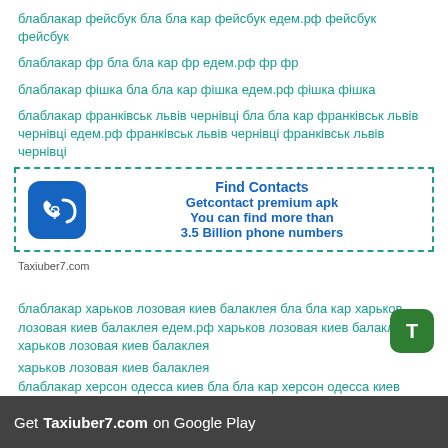блаблакар фейсбук бла бла кар фейсбук едем.рф фейсбук фейсбук
блаблакар фр бла бла кар фр едем.рф фр фр
блаблакар фішка бла бла кар фішка едем.рф фішка фішка
блаблакар франківськ львів чернівці бла бла кар франківськ львів чернівці едем.рф франківськ львів чернівці франківськ львів чернівці
[Figure (infographic): Ad box with dashed border. Blue phone icon with question mark on left. Bold blue text: Find Contacts / Getcontact premium apk / You can find more than / 3.5 Billion phone numbers]
Taxiuber7.com
блаблакар харьков лозовая киев балаклея бла бла кар харьков лозовая киев балаклея едем.рф харьков лозовая киев балаклея харьков лозовая киев балаклея
блаблакар херсон одесса киев бла бла кар херсон одесса киев